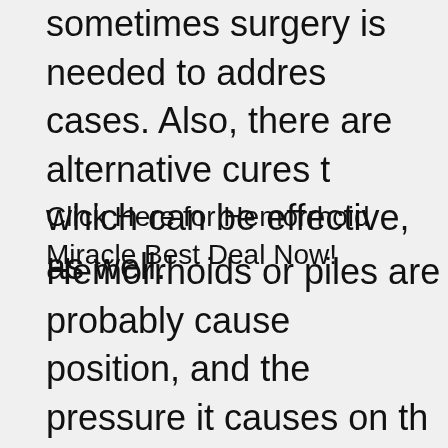sometimes surgery is needed to address cases. Also, there are alternative cures which can be effective, as well.
Click Here for Hemorrhoid Miracle Best Deal Now!
Hemorrhoids or piles are probably caused by position, and the pressure it causes on the veins. They consist of dilated veins which usually line mucous membrane. Several precipitating factors lead to the acute enlargement of hemorrhoids, such as constipation and diarrhea, each of which involves forcing, thus, increasing pressure within the veins. To rid of hemorrhoids, therefore, can be achieved...